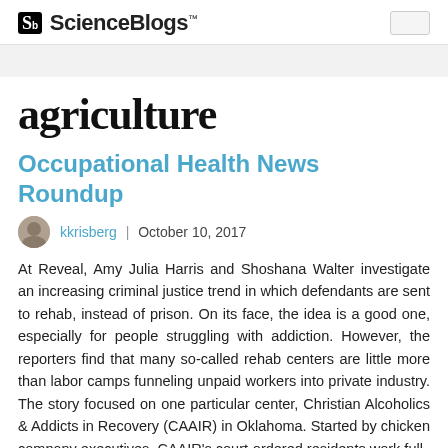ScienceBlogs™
agriculture
Occupational Health News Roundup
kkrisberg | October 10, 2017
At Reveal, Amy Julia Harris and Shoshana Walter investigate an increasing criminal justice trend in which defendants are sent to rehab, instead of prison. On its face, the idea is a good one, especially for people struggling with addiction. However, the reporters find that many so-called rehab centers are little more than labor camps funneling unpaid workers into private industry. The story focused on one particular center, Christian Alcoholics & Addicts in Recovery (CAAIR) in Oklahoma. Started by chicken company executives, CAAIR's court-ordered residents work full-